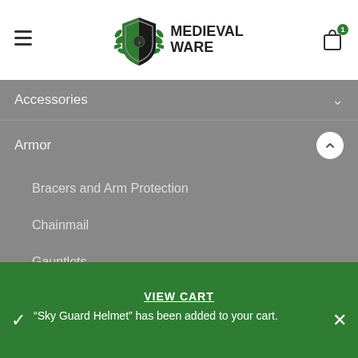[Figure (logo): Medieval Ware shield logo with green and black heraldic design and foliage]
Accessories
Armor
Bracers and Arm Protection
Chainmail
Gauntlets
Gorgets
Helmets
VIEW CART
"Sky Guard Helmet" has been added to your cart.